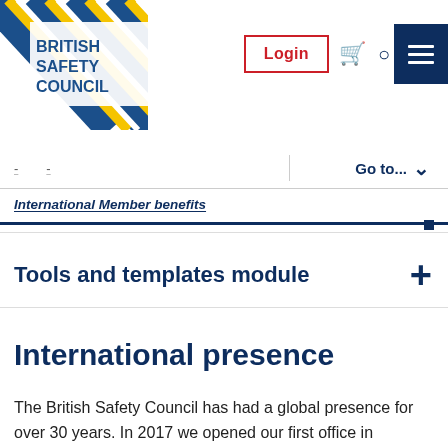[Figure (logo): British Safety Council logo with blue and yellow diagonal stripes and bold blue text]
Login | basket | search | menu
International Member benefits
Go to...
Tools and templates module
International presence
The British Safety Council has had a global presence for over 30 years. In 2017 we opened our first office in